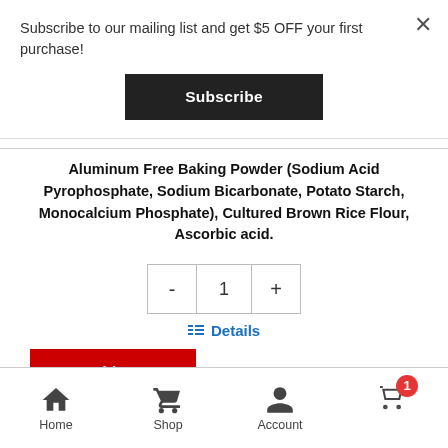Subscribe to our mailing list and get $5 OFF your first purchase!
Subscribe
Aluminum Free Baking Powder (Sodium Acid Pyrophosphate, Sodium Bicarbonate, Potato Starch, Monocalcium Phosphate), Cultured Brown Rice Flour, Ascorbic acid.
1
Details
Add to cart
Home  Shop  Account  Cart (1)